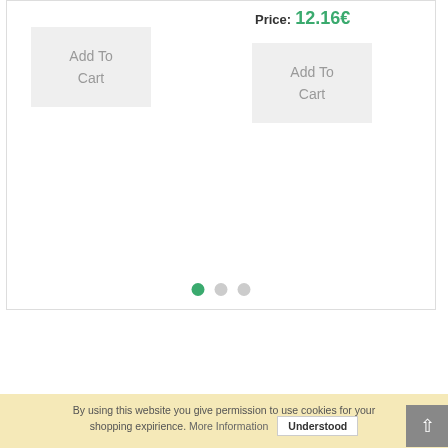Price: 12.16€
[Figure (screenshot): Add To Cart button (left), light gray rectangle]
[Figure (screenshot): Add To Cart button (right), light gray rectangle]
[Figure (other): Pagination dots: first dot active (green), two inactive gray dots]
By using this website you give permission to use cookies for your shopping expirience. More Information   Understood